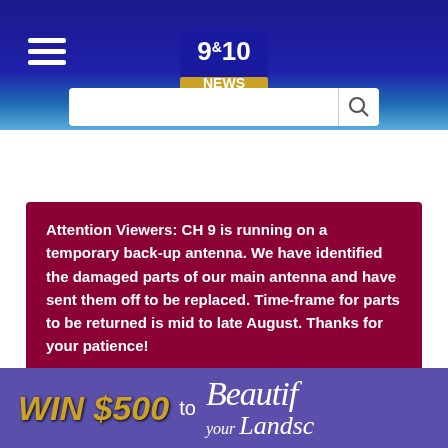[Figure (screenshot): 9&10 News website header with dark blue gradient background, hamburger menu icon on left, 9&10 NEWS logo centered, and a search bar below]
Attention Viewers: CH 9 is running on a temporary back-up antenna. We have identified the damaged parts of our main antenna and have sent them off to be replaced. Time-frame for parts to be returned is mid to late August. Thanks for your patience!
[Figure (infographic): Bottom banner showing WIN $500 to Beautify your Landscape promotional advertisement with purple background and gold text]